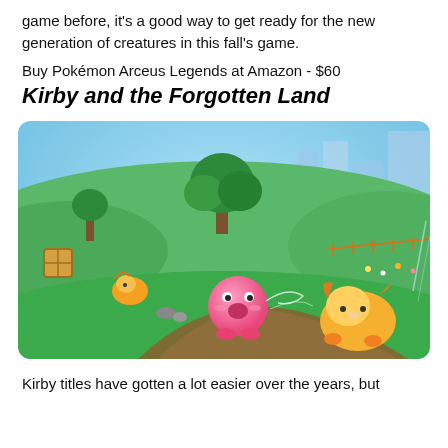game before, it's a good way to get ready for the new generation of creatures in this fall's game.
Buy Pokémon Arceus Legends at Amazon - $60
Kirby and the Forgotten Land
[Figure (photo): Screenshot from Kirby and the Forgotten Land game. Pink Kirby character with open mouth is on a dirt path on a green grassy field. Two orange fox-like enemy creatures are nearby. Background shows green hills, trees, blue sky, and distant buildings.]
Kirby titles have gotten a lot easier over the years, but